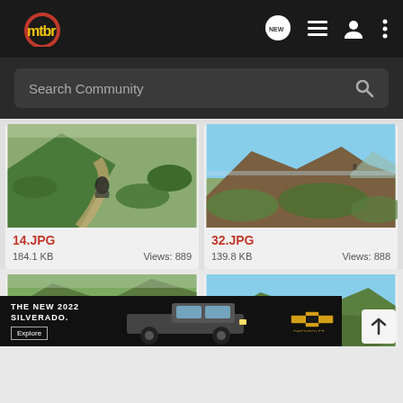mtbr navigation bar with logo, NEW, list, user, and more-options icons
Search Community
[Figure (photo): Mountain biker riding down a rocky dirt trail through green shrubby hillside, labeled 14.JPG, 184.1 KB, Views: 889]
[Figure (photo): Mountain ridgeline with brown grassy slopes under a clear blue sky, tiny rider visible on ridge, labeled 32.JPG, 139.8 KB, Views: 888]
[Figure (photo): Partial view of green mountain slopes, bottom portion of a photo card]
[Figure (photo): Partial view of green hills with blue sky, bottom portion of a photo card]
[Figure (infographic): Chevrolet advertisement banner: THE NEW 2022 SILVERADO. with Explore button and truck image and Chevrolet logo]